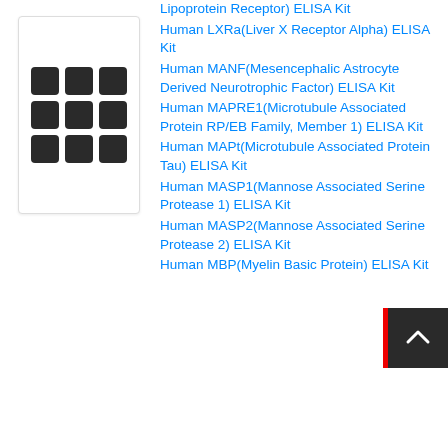[Figure (other): Grid icon with 3x3 dark rounded squares in a white card with border]
Lipoprotein Receptor) ELISA Kit
Human LXRa(Liver X Receptor Alpha) ELISA Kit
Human MANF(Mesencephalic Astrocyte Derived Neurotrophic Factor) ELISA Kit
Human MAPRE1(Microtubule Associated Protein RP/EB Family, Member 1) ELISA Kit
Human MAPt(Microtubule Associated Protein Tau) ELISA Kit
Human MASP1(Mannose Associated Serine Protease 1) ELISA Kit
Human MASP2(Mannose Associated Serine Protease 2) ELISA Kit
Human MBP(Myelin Basic Protein) ELISA Kit